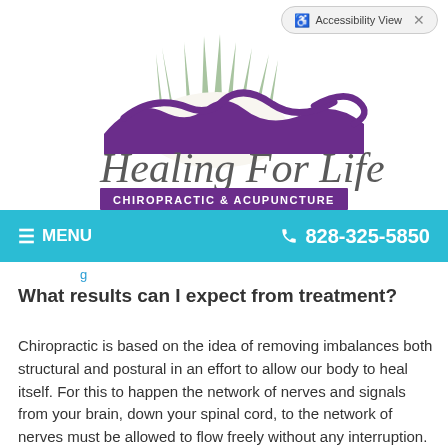[Figure (logo): Healing For Life Chiropractic & Acupuncture logo with sunrise/mountain graphic in green and purple, text in purple serif font with purple banner]
☰ MENU    828-325-5850
What results can I expect from treatment?
Chiropractic is based on the idea of removing imbalances both structural and postural in an effort to allow our body to heal itself. For this to happen the network of nerves and signals from your brain, down your spinal cord, to the network of nerves must be allowed to flow freely without any interruption. Chiropractors have the ability and skill to remove these interruptions or misalignments and allow the